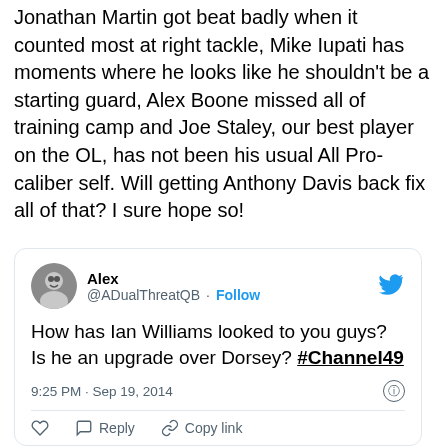Jonathan Martin got beat badly when it counted most at right tackle, Mike Iupati has moments where he looks like he shouldn't be a starting guard, Alex Boone missed all of training camp and Joe Staley, our best player on the OL, has not been his usual All Pro-caliber self. Will getting Anthony Davis back fix all of that? I sure hope so!
[Figure (screenshot): Embedded tweet from @ADualThreatQB (Alex) asking 'How has Ian Williams looked to you guys? Is he an upgrade over Dorsey? #Channel49', posted at 9:25 PM · Sep 19, 2014, with like, reply, and copy link actions.]